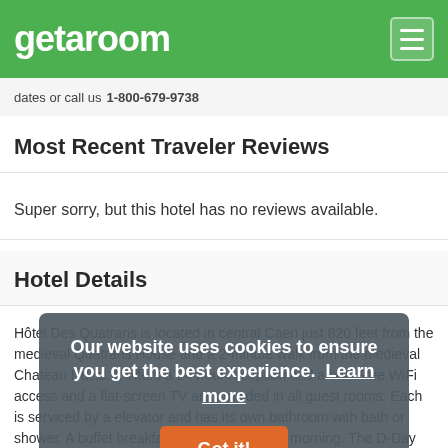getaroom
dates or call us 1-800-679-9738
Most Recent Traveler Reviews
Super sorry, but this hotel has no reviews available.
Hotel Details
Hôtel Des Quatrans is located in central Caen just 820 feet from the medieval Quatrans House and a 2-minute walk from the medieval Chateau Ducal. It offers a 24-hour reception and a bar. Free WiFi access and a flat-screen TV are provided in all guest rooms. Each is serviced by a elevator and has its own bathroom with bath or shower. A buffet breakfast is prepared every morning. The D-Day landing beaches of Wd 25 mi from Hotel des Quatrans. The Bayeux Tapestry, chronicling the Norman Conquest, is located 19 mi away.
Our website uses cookies to ensure you get the best experience. Learn more
Got it!